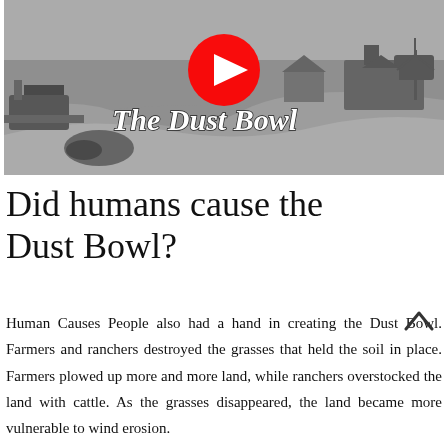[Figure (screenshot): YouTube video thumbnail showing a black-and-white photograph of a Dust Bowl scene with abandoned farm equipment, a house in the background, and sand dunes. A red YouTube play button is centered on the image. White italic bold text reads 'The Dust Bowl'.]
Did humans cause the Dust Bowl?
Human Causes People also had a hand in creating the Dust Bowl. Farmers and ranchers destroyed the grasses that held the soil in place. Farmers plowed up more and more land, while ranchers overstocked the land with cattle. As the grasses disappeared, the land became more vulnerable to wind erosion.